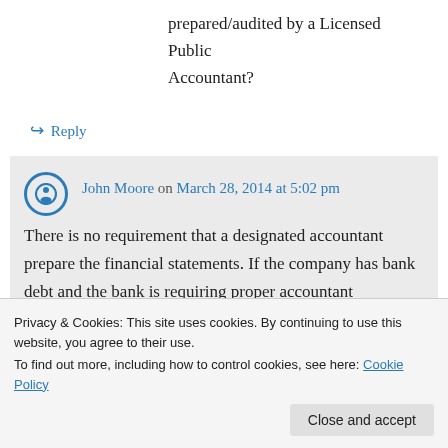prepared/audited by a Licensed Public Accountant?
↪ Reply
John Moore on March 28, 2014 at 5:02 pm
There is no requirement that a designated accountant prepare the financial statements. If the company has bank debt and the bank is requiring proper accountant
Privacy & Cookies: This site uses cookies. By continuing to use this website, you agree to their use.
To find out more, including how to control cookies, see here: Cookie Policy
Close and accept
corporate tax return, so you may want to